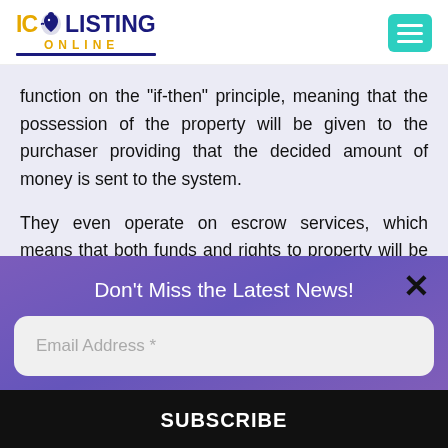[Figure (logo): ICO Listing Online logo with bird icon, yellow 'ICO' text, dark blue 'LISTING' text, and orange 'ONLINE' text with underline]
function on the "if-then" principle, meaning that the possession of the property will be given to the purchaser providing that the decided amount of money is sent to the system.
They even operate on escrow services, which means that both funds and rights to property will be deposited within the system and dispersed to partaking parties at precisely the same time. Moreover, the deals is signed and validated by many folks, thus the
Don't Miss the Latest News!
Email Address *
SUBSCRIBE